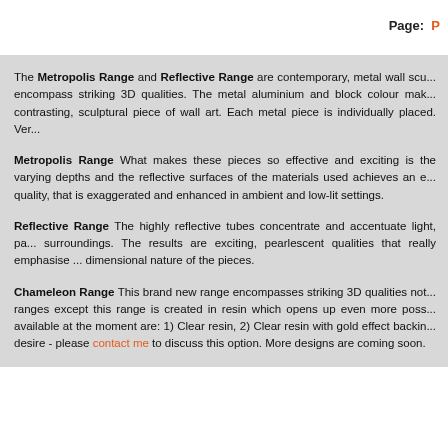Page: P
The Metropolis Range and Reflective Range are contemporary, metal wall sculptures that encompass striking 3D qualities. The metal aluminium and block colour make each a contrasting, sculptural piece of wall art. Each metal piece is individually placed. Ver...
Metropolis Range What makes these pieces so effective and exciting is the varying depths and the reflective surfaces of the materials used achieves an e... quality, that is exaggerated and enhanced in ambient and low-lit settings.
Reflective Range The highly reflective tubes concentrate and accentuate light, pa... surroundings. The results are exciting, pearlescent qualities that really emphasise ... dimensional nature of the pieces.
Chameleon Range This brand new range encompasses striking 3D qualities not... ranges except this range is created in resin which opens up even more poss... available at the moment are: 1) Clear resin, 2) Clear resin with gold effect backin... desire - please contact me to discuss this option. More designs are coming soon.